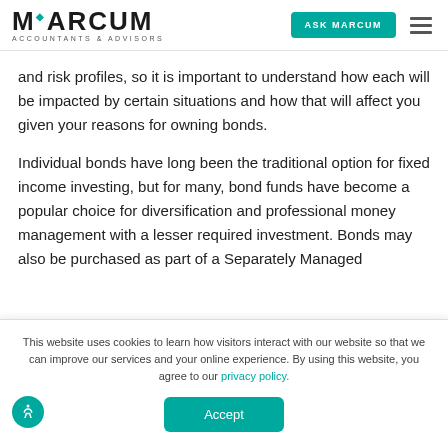MARCUM ACCOUNTANTS & ADVISORS | ASK MARCUM
and risk profiles, so it is important to understand how each will be impacted by certain situations and how that will affect you given your reasons for owning bonds.
Individual bonds have long been the traditional option for fixed income investing, but for many, bond funds have become a popular choice for diversification and professional money management with a lesser required investment. Bonds may also be purchased as part of a Separately Managed
This website uses cookies to learn how visitors interact with our website so that we can improve our services and your online experience. By using this website, you agree to our privacy policy.
Accept